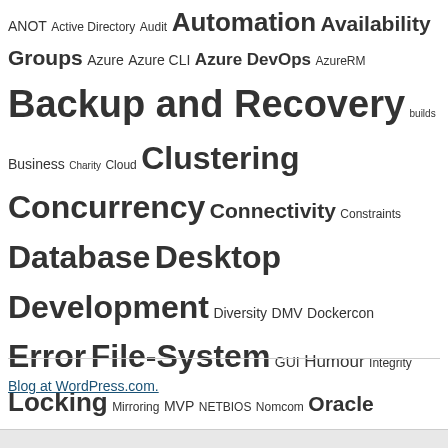ANOT Active Directory Audit Automation Availability Groups Azure Azure CLI Azure DevOps AzureRM Backup and Recovery builds Business Charity Cloud Clustering Concurrency Connectivity Constraints Database Desktop Development Diversity DMV Dockercon Error File-System GUI Humour Integrity Locking Mirroring MVP NETBIOS Nomcom Oracle Parallelism PASS Summit Performance PowerShell Public Speaking Query Quorum releases Reporting REST API Security Setup SharePoint Saturday SQL SQLBits SQLRally SQLSaturday SSMS Stored Procedure Systems Center T-SQL T-SQL Tuesday TSQL Tuning VirtualBox
Blog at WordPress.com.